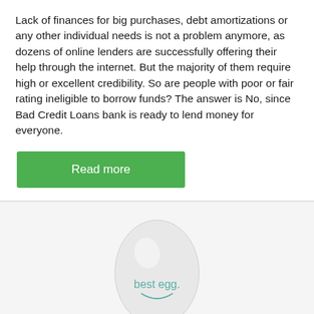Lack of finances for big purchases, debt amortizations or any other individual needs is not a problem anymore, as dozens of online lenders are successfully offering their help through the internet. But the majority of them require high or excellent credibility. So are people with poor or fair rating ineligible to borrow funds? The answer is No, since Bad Credit Loans bank is ready to lend money for everyone.
[Figure (other): Green 'Read more' button]
[Figure (logo): Best Egg logo on a white egg-shaped illustration against a light grey background]